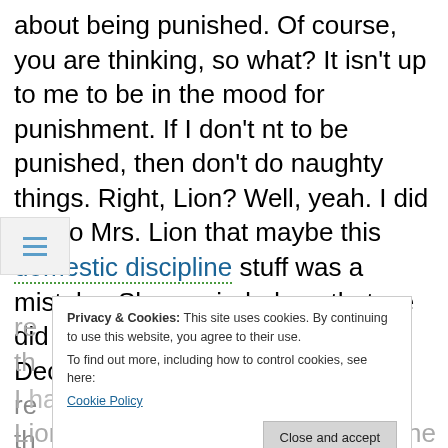about being punished. Of course, you are thinking, so what? It isn't up to me to be in the mood for punishment. If I don't want to be punished, then don't do naughty things. Right, Lion? Well, yeah. I did say to Mrs. Lion that maybe this domestic discipline stuff was a mistake. She reminded me that we did agree we could discuss that in December. I reminded her that we agreed about that. I had to lie down on the bed while Mrs. Lion administered her spanking. She
Privacy & Cookies: This site uses cookies. By continuing to use this website, you agree to their use. To find out more, including how to control cookies, see here: Cookie Policy